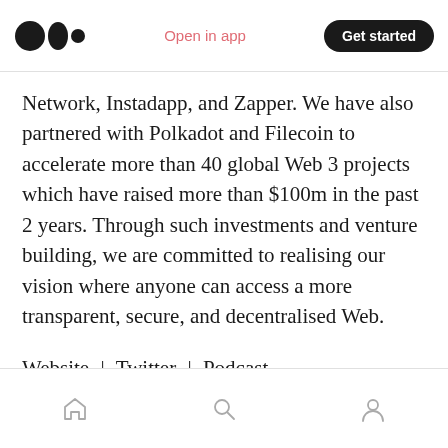Medium app header with logo, Open in app, Get started
Network, Instadapp, and Zapper. We have also partnered with Polkadot and Filecoin to accelerate more than 40 global Web 3 projects which have raised more than $100m in the past 2 years. Through such investments and venture building, we are committed to realising our vision where anyone can access a more transparent, secure, and decentralised Web.
Website | Twitter | Podcast
Bottom navigation bar with home, search, profile icons